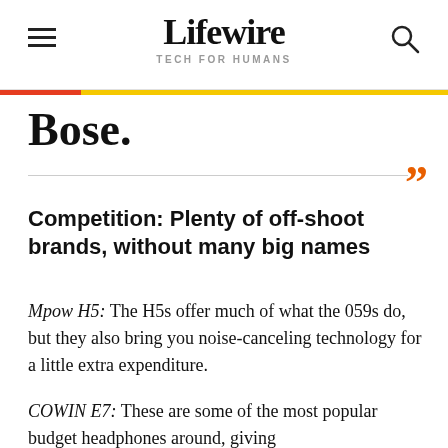Lifewire TECH FOR HUMANS
Bose.
Competition: Plenty of off-shoot brands, without many big names
Mpow H5: The H5s offer much of what the 059s do, but they also bring you noise-canceling technology for a little extra expenditure.
COWIN E7: These are some of the most popular budget headphones around, giving